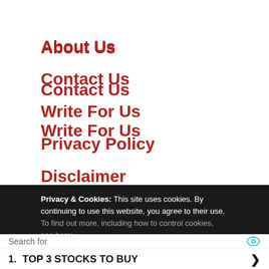About Us
Contact Us
Write For Us
Privacy Policy
Disclaimer
Terms Of Use
Privacy & Cookies: This site uses cookies. By continuing to use this website, you agree to their use. To find out more, including how to control cookies, see here:
Search for
1. TOP 3 STOCKS TO BUY ›
2. BANK FORECLOSED HOMES FOR ›
Ad | Business Focus